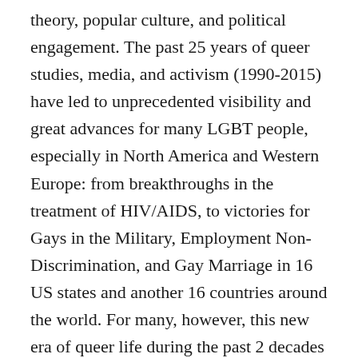theory, popular culture, and political engagement. The past 25 years of queer studies, media, and activism (1990-2015) have led to unprecedented visibility and great advances for many LGBT people, especially in North America and Western Europe: from breakthroughs in the treatment of HIV/AIDS, to victories for Gays in the Military, Employment Non-Discrimination, and Gay Marriage in 16 US states and another 16 countries around the world. For many, however, this new era of queer life during the past 2 decades has eclipsed the time before, when those who were pejoratively labeled as queer struggled with homophobic discrimination, isolation, and violence, by